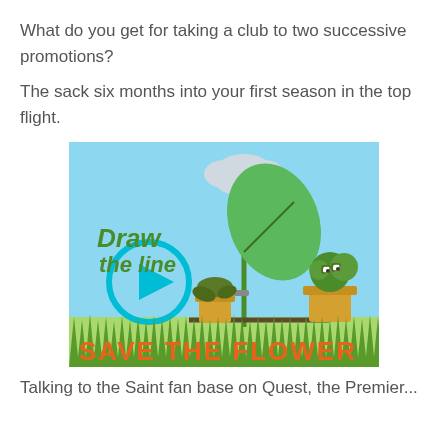What do you get for taking a club to two successive promotions?
The sack six months into your first season in the top flight.
[Figure (illustration): Colorful game advertisement image with sky blue background. Shows animated cartoon potted plants with faces. Text reads 'Draw the line' in green cursive font and 'SAVE THE FLOWER' in bold orange font at bottom. A play button circle icon is on the left. A cloud with water dripping down is at top center. A large green leaf plant is prominent. Grass is shown at the bottom.]
Talking to the Saint fan base on Quest, the Premier...